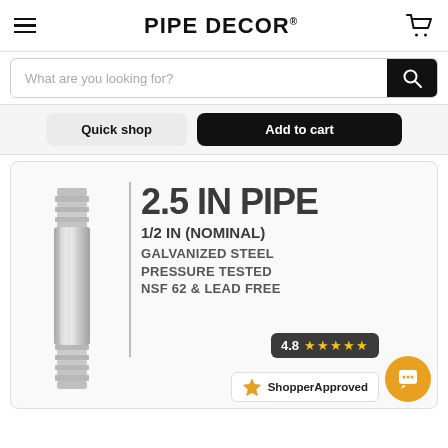PIPE DECOR
What are you looking for?
Quick shop | Add to cart
[Figure (photo): Galvanized steel pipe nipple, threaded on both ends, silver metallic finish]
2.5 IN PIPE
1/2 IN (NOMINAL) GALVANIZED STEEL PRESSURE TESTED NSF 62 & LEAD FREE
4.8 ★★★★★
ShopperApproved